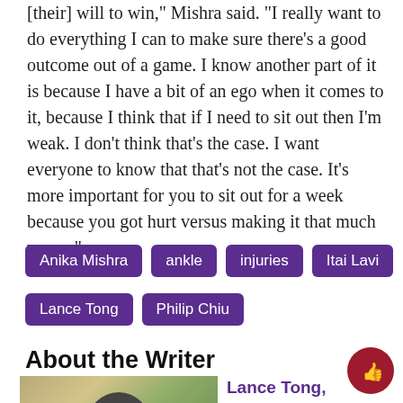[their] will to win," Mishra said. "I really want to do everything I can to make sure there's a good outcome out of a game. I know another part of it is because I have a bit of an ego when it comes to it, because I think that if I need to sit out then I'm weak. I don't think that's the case. I want everyone to know that that's not the case. It's more important for you to sit out for a week because you got hurt versus making it that much worse."
Anika Mishra
ankle
injuries
Itai Lavi
Lance Tong
Philip Chiu
About the Writer
[Figure (photo): Photo of writer with outdoor background]
Lance Tong, Managing Editor